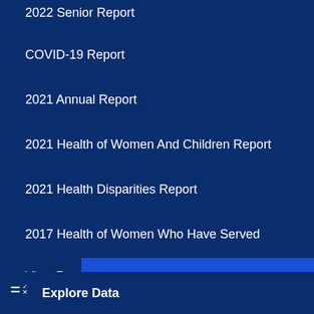2022 Senior Report
COVID-19 Report
2021 Annual Report
2021 Health of Women And Children Report
2021 Health Disparities Report
2017 Health of Women Who Have Served
View Report Archive →
Please take a quick survey. ×
Explore Data